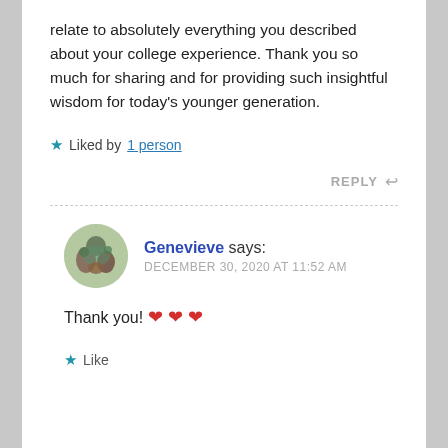relate to absolutely everything you described about your college experience. Thank you so much for sharing and for providing such insightful wisdom for today's younger generation.
★ Liked by 1 person
REPLY ↩
Genevieve says: DECEMBER 30, 2020 AT 11:52 AM
Thank you! ❤ ❤ ❤
★ Like